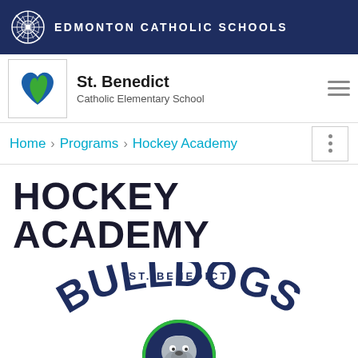Edmonton Catholic Schools
St. Benedict
Catholic Elementary School
Home > Programs > Hockey Academy
HOCKEY ACADEMY
[Figure (logo): St. Benedict Bulldogs Hockey Academy logo featuring a bulldog mascot with an S letter, text 'ST. BENEDICT BULLDOGS HOCKEY ACADEMY']